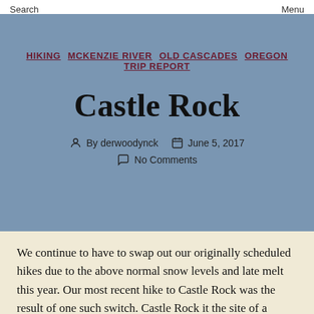Search    Menu
HIKING  MCKENZIE RIVER  OLD CASCADES  OREGON  TRIP REPORT
Castle Rock
By derwoodynck   June 5, 2017
No Comments
We continue to have to swap out our originally scheduled hikes due to the above normal snow levels and late melt this year. Our most recent hike to Castle Rock was the result of one such switch. Castle Rock it the site of a former lookout tower atop a 3808' rocky outcrop